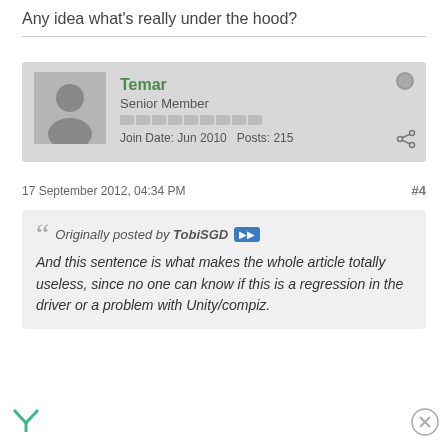Any idea what's really under the hood?
Temar
Senior Member
Join Date: Jun 2010  Posts: 215
17 September 2012, 04:34 PM
#4
Originally posted by TobiSGD
And this sentence is what makes the whole article totally useless, since no one can know if this is a regression in the driver or a problem with Unity/compiz.